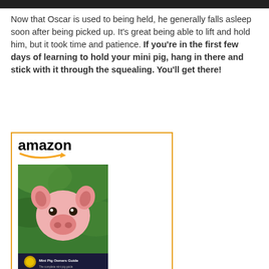Now that Oscar is used to being held, he generally falls asleep soon after being picked up. It's great being able to lift and hold him, but it took time and patience. If you're in the first few days of learning to hold your mini pig, hang in there and stick with it through the squealing. You'll get there!
[Figure (other): Amazon product widget showing the Mini Pig Owners Guide book, priced at $29.95 with Prime, and a Shop now button]